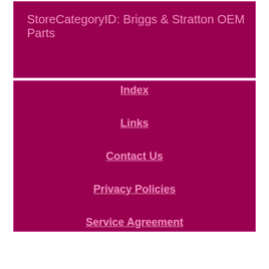StoreCategoryID: Briggs & Stratton OEM Parts
Index
Links
Contact Us
Privacy Policies
Service Agreement